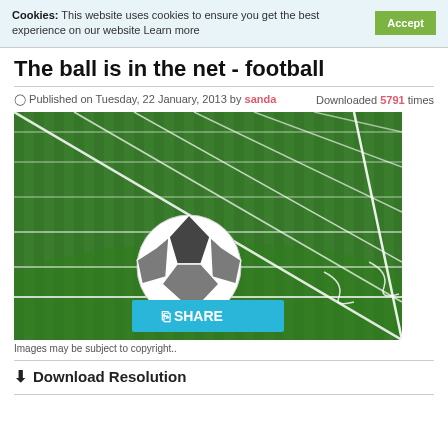Cookies: This website uses cookies to ensure you get the best experience on our website Learn more
The ball is in the net - football
Published on Tuesday, 22 January, 2013 by sanda   Downloaded 5791 times
[Figure (photo): A soccer ball in the back of a white goal net on green grass, close-up ground-level view with a Share button overlay]
Images may be subject to copyright..
Download Resolution